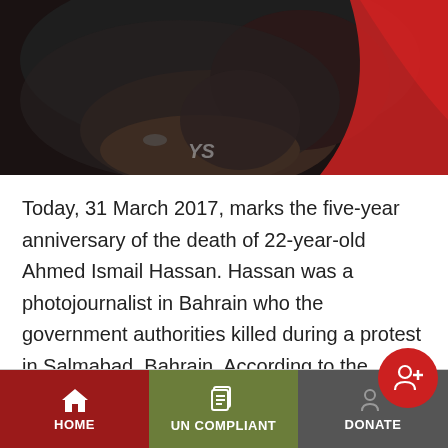[Figure (photo): Cropped photo of a person wearing dark clothing with a red background element visible, partial text 'YS' visible]
Today, 31 March 2017, marks the five-year anniversary of the death of 22-year-old Ahmed Ismail Hassan. Hassan was a photojournalist in Bahrain who the government authorities killed during a protest in Salmabad, Bahrain. According to the Committee to Protect Journalist (CPJ), Hassan is one of three journalists killed in Bahrain since 2011. On 31 March[...]
Continue reading →
HOME | UN COMPLIANT | DONATE